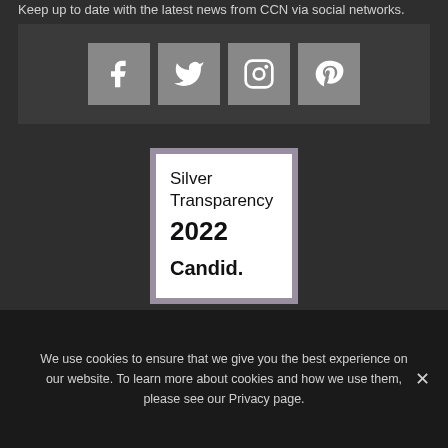Keep up to date with the latest news from CCN via social networks.
[Figure (infographic): Dark gray bar with four social media icons: Facebook, Twitter, Instagram, Pinterest — each in a gray square button]
[Figure (logo): Candid Silver Transparency 2022 badge — square badge with gray border containing white background with text: Silver Transparency 2022 Candid.]
JOIN US ON TWITTER
We use cookies to ensure that we give you the best experience on our website. To learn more about cookies and how we use them, please see our Privacy page.